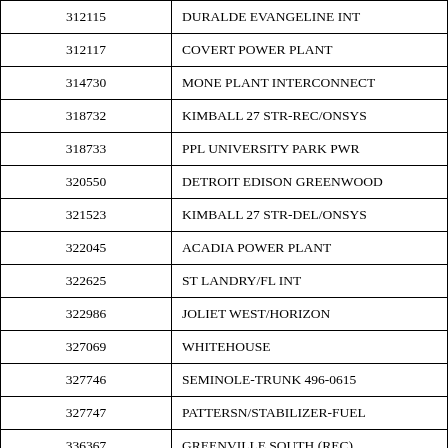| 312115 | DURALDE EVANGELINE INT |
| 312117 | COVERT POWER PLANT |
| 314730 | MONE PLANT INTERCONNECT |
| 318732 | KIMBALL 27 STR-REC/ONSYS |
| 318733 | PPL UNIVERSITY PARK PWR |
| 320550 | DETROIT EDISON GREENWOOD |
| 321523 | KIMBALL 27 STR-DEL/ONSYS |
| 322045 | ACADIA POWER PLANT |
| 322625 | ST LANDRY/FL INT |
| 322986 | JOLIET WEST/HORIZON |
| 327069 | WHITEHOUSE |
| 327746 | SEMINOLE-TRUNK 496-0615 |
| 327747 | PATTERSN/STABILIZER-FUEL |
| 336367 | GREENVILLE SOUTH (REC) |
| 336369 | GREENVILLE SOUTH (DEL) |
| 338685 | GUARDIAN CEDAR DEL |